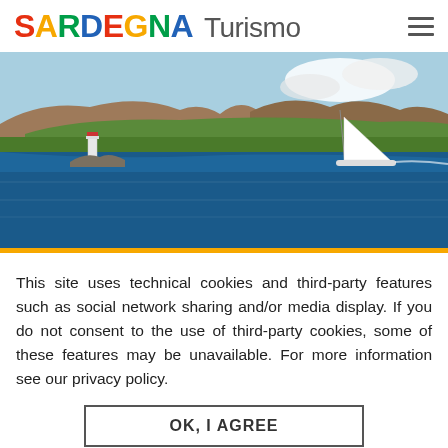SARDEGNA Turismo
[Figure (photo): Aerial coastal view of Sardinia showing a lighthouse on rocky shore, blue sea, green island landmass, and a white sailboat]
This site uses technical cookies and third-party features such as social network sharing and/or media display. If you do not consent to the use of third-party cookies, some of these features may be unavailable. For more information see our privacy policy.
OK, I AGREE
NEARBY
WHERE IT IS
NO, GIVE ME MORE INFO
[Figure (map): Partial map strip showing Sardinia region in light colors]